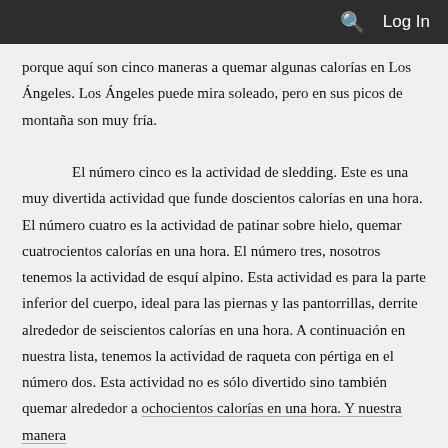Log In
porque aquí son cinco maneras a quemar algunas calorías en Los Ángeles. Los Ángeles puede mira soleado, pero en sus picos de montaña son muy fría.

 El número cinco es la actividad de sledding. Este es una muy divertida actividad que funde doscientos calorías en una hora. El número cuatro es la actividad de patinar sobre hielo, quemar cuatrocientos calorías en una hora. El número tres, nosotros tenemos la actividad de esquí alpino. Esta actividad es para la parte inferior del cuerpo, ideal para las piernas y las pantorrillas, derrite alrededor de seiscientos calorías en una hora. A continuación en nuestra lista, tenemos la actividad de raqueta con pértiga en el número dos. Esta actividad no es sólo divertido sino también quemar alrededor a ochocientos calorías en una hora. Y nuestra manera